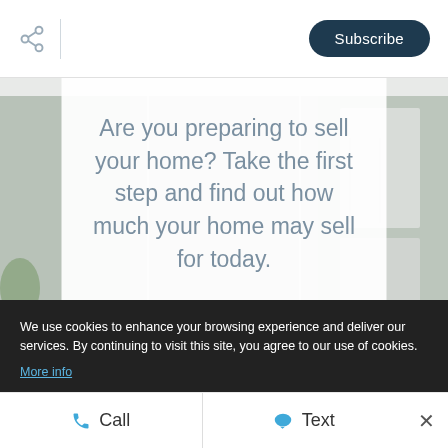[Figure (screenshot): Share icon (network share symbol) in the top header bar]
Subscribe
[Figure (photo): Interior real estate photo showing a bright white modern room with cabinetry and a plant]
Are you preparing to sell your home? Take the first step and find out how much your home may sell for today.
We use cookies to enhance your browsing experience and deliver our services. By continuing to visit this site, you agree to our use of cookies. More info
Call
Text